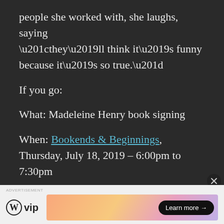people she worked with, she laughs, saying “they’ll think it’s funny because it’s so true.”
If you go:
What: Madeleine Henry book signing
When: Bookends & Beginnings, Thursday, July 18, 2019 – 6:00pm to 7:30pm
[Figure (other): WordPress VIP advertisement banner with gradient background and Learn more button]